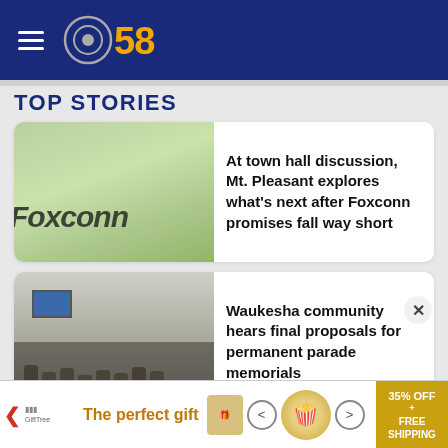CBS 58
TOP STORIES
[Figure (photo): Foxconn sign/logo on a green-tinted building exterior]
At town hall discussion, Mt. Pleasant explores what's next after Foxconn promises fall way short
[Figure (photo): Crowded community meeting room with people seated at tables and a TV screen visible]
Waukesha community hears final proposals for permanent parade memorials
[Figure (other): Advertisement banner: 'The perfect gift' with popcorn image, navigation arrows, and '35% OFF + FREE SHIPPING' gold box]